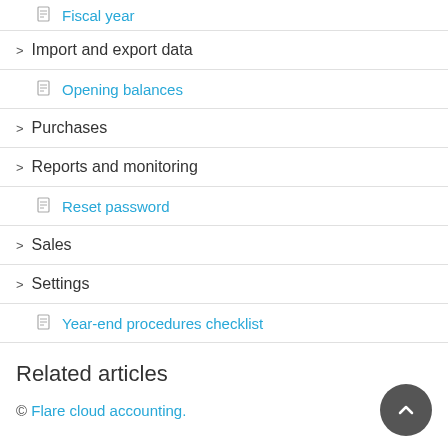Fiscal year
Import and export data
Opening balances
Purchases
Reports and monitoring
Reset password
Sales
Settings
Year-end procedures checklist
Related articles
Flare setup videos
© Flare cloud accounting.